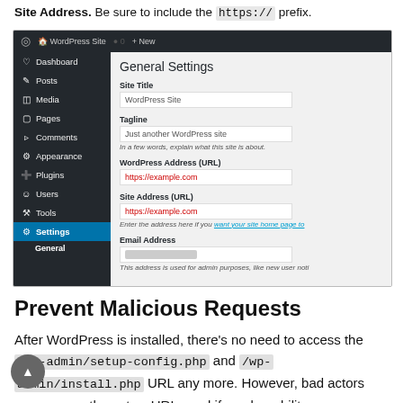Site Address. Be sure to include the https:// prefix.
[Figure (screenshot): WordPress admin General Settings page showing Site Title, Tagline, WordPress Address (URL) set to https://example.com, Site Address (URL) set to https://example.com, and Email Address fields.]
Prevent Malicious Requests
After WordPress is installed, there's no need to access the /wp-admin/setup-config.php and /wp-admin/install.php URL any more. However, bad actors may access these two URLs and if a vulnerability